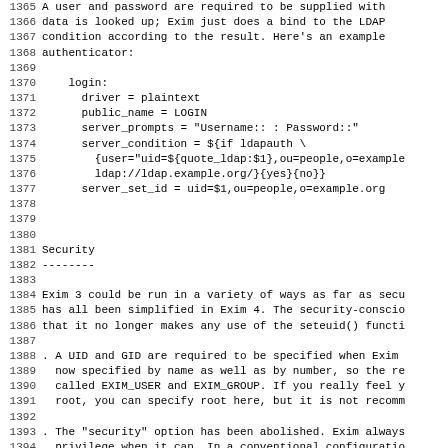Lines 1365-1368: A user and password are required to be supplied with... authenticator:
Lines 1370-1377: login: driver = plaintext, public_name = LOGIN, server_prompts, server_condition, server_set_id code block
Security
Line 1381: Security
Line 1382: --------
Lines 1384-1386: Exim 3 could be run in a variety of ways as far as secu... has all been simplified in Exim 4. The security-conscio... that it no longer makes any use of the seteuid() functi
Lines 1388-1391: A UID and GID are required to be specified when Exim ... now specified by name as well as by number, so the re... called EXIM_USER and EXIM_GROUP. If you really feel y... root, you can specify root here, but it is not recomm
Lines 1393-1396: The "security" option has been abolished. Exim always... privilege when it can. In a conventional configuratio... receiving a message, when it is delivering a message,... queryprogram router, and when it is obeying users' fi